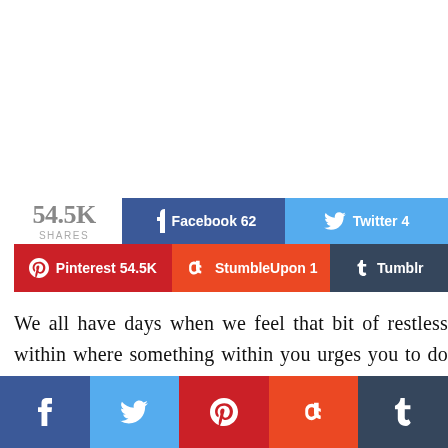[Figure (infographic): Social share bar with Facebook 62, Twitter 4, Pinterest 54.5K, StumbleUpon 1, Tumblr buttons, and a share count of 54.5K]
We all have days when we feel that bit of restless within where something within you urges you to do something and that too with your own hands. On such days we long to do something using our tools, hands and our crea
[Figure (infographic): Bottom social share bar with Facebook, Twitter, Pinterest, StumbleUpon, Tumblr icon buttons]